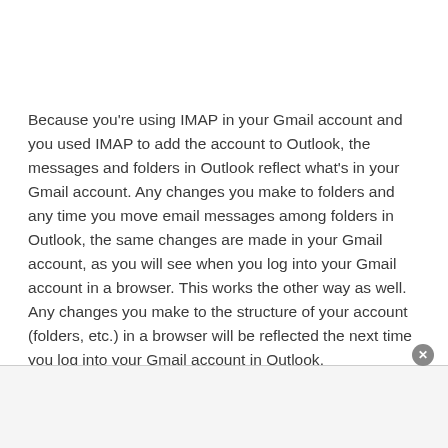Because you're using IMAP in your Gmail account and you used IMAP to add the account to Outlook, the messages and folders in Outlook reflect what's in your Gmail account. Any changes you make to folders and any time you move email messages among folders in Outlook, the same changes are made in your Gmail account, as you will see when you log into your Gmail account in a browser. This works the other way as well. Any changes you make to the structure of your account (folders, etc.) in a browser will be reflected the next time you log into your Gmail account in Outlook.